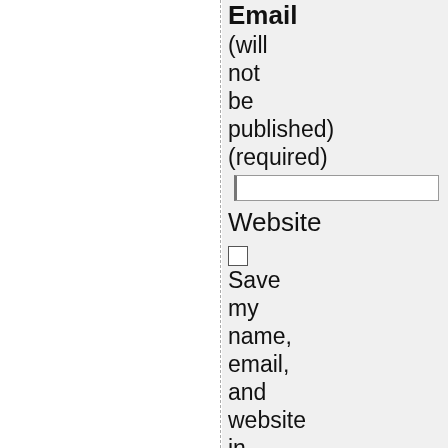Email (will not be published) (required)
Website
Save my name, email, and website in this browser for the next time I comment.
Notify me of follow